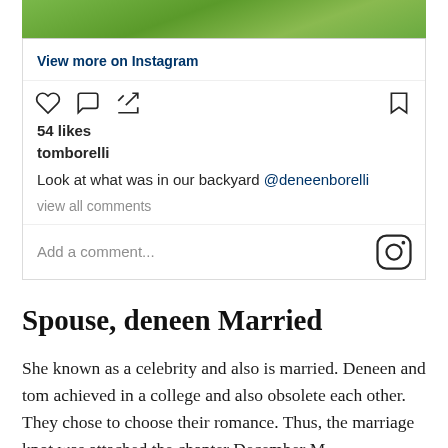[Figure (screenshot): Instagram post screenshot showing grass/green background photo strip at top, with View more on Instagram link, action icons (heart, comment, share, bookmark), 54 likes, username tomborelli, caption 'Look at what was in our backyard @deneenborelli', view all comments link, Add a comment field with Instagram logo]
Spouse, deneen Married
She known as a celebrity and also is married. Deneen and tom achieved in a college and also obsolete each other. They chose to choose their romance. Thus, the marriage knot was attached the chanter December M...